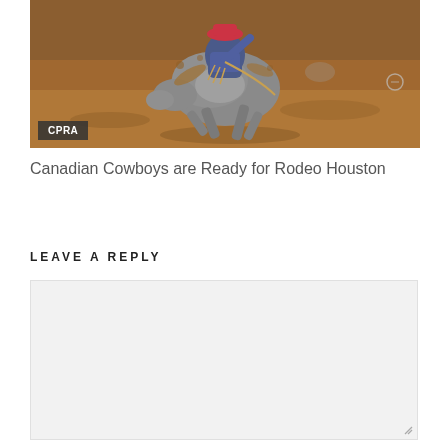[Figure (photo): Rodeo photo showing a cowboy riding a bucking bronco horse in a dirt arena, with CPRA badge overlay in bottom-left corner]
CPRA
Canadian Cowboys are Ready for Rodeo Houston
LEAVE A REPLY